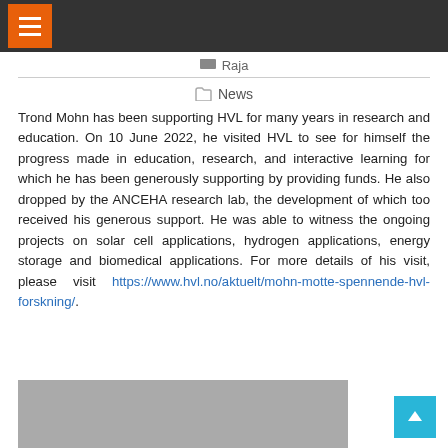Raja
News
Trond Mohn has been supporting HVL for many years in research and education. On 10 June 2022, he visited HVL to see for himself the progress made in education, research, and interactive learning for which he has been generously supporting by providing funds. He also dropped by the ANCEHA research lab, the development of which too received his generous support. He was able to witness the ongoing projects on solar cell applications, hydrogen applications, energy storage and biomedical applications. For more details of his visit, please visit https://www.hvl.no/aktuelt/mohn-motte-spennende-hvl-forskning/.
[Figure (photo): Group of people in a laboratory or research facility setting]